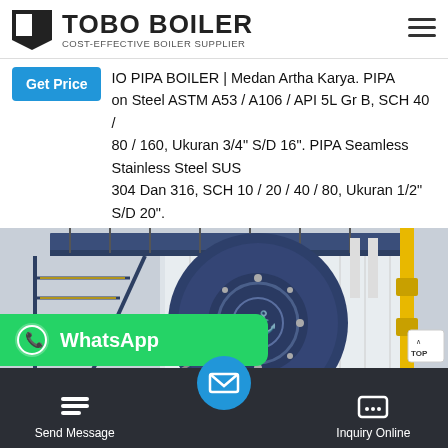TOBO BOILER — COST-EFFECTIVE BOILER SUPPLIER
IO PIPA BOILER | Medan Artha Karya. PIPA on Steel ASTM A53 / A106 / API 5L Gr B, SCH 40 / 80 / 160, Ukuran 3/4" S/D 16". PIPA Seamless Stainless Steel SUS 304 Dan 316, SCH 10 / 20 / 40 / 80, Ukuran 1/2" S/D 20".
[Figure (photo): Industrial boiler unit in a factory setting — large blue cylindrical boiler with front burner assembly, metal staircase on the left, yellow gas pipe on the right, white insulated body in background.]
Send Message | Inquiry Online